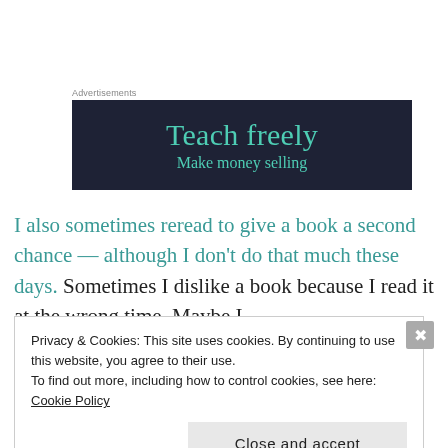[Figure (screenshot): Advertisement banner with dark navy background showing 'Teach freely' in teal serif font and 'Make money selling' text below it, partially visible]
I also sometimes reread to give a book a second chance — although I don't do that much these days. Sometimes I dislike a book because I read it at the wrong time. Maybe I
Privacy & Cookies: This site uses cookies. By continuing to use this website, you agree to their use.
To find out more, including how to control cookies, see here: Cookie Policy

Close and accept